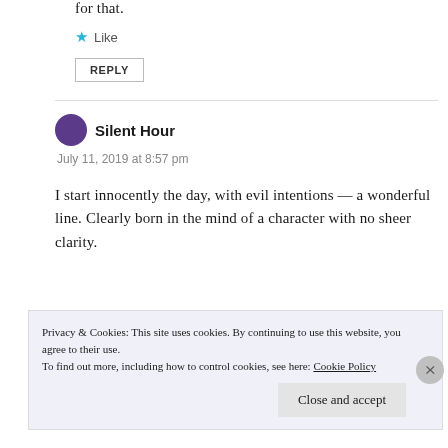for that.
★ Like
REPLY
Silent Hour
July 11, 2019 at 8:57 pm
I start innocently the day, with evil intentions — a wonderful line. Clearly born in the mind of a character with no sheer clarity.
Privacy & Cookies: This site uses cookies. By continuing to use this website, you agree to their use. To find out more, including how to control cookies, see here: Cookie Policy
Close and accept